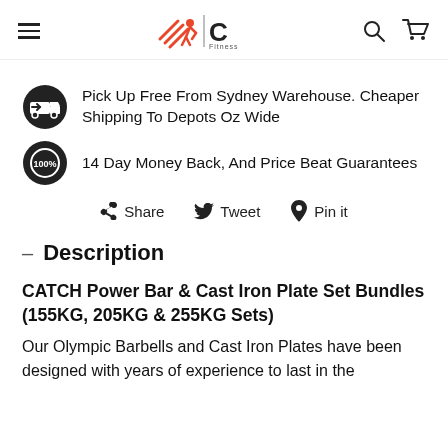C Fitness
Pick Up Free From Sydney Warehouse. Cheaper Shipping To Depots Oz Wide
14 Day Money Back, And Price Beat Guarantees
Share  Tweet  Pin it
– Description
CATCH Power Bar & Cast Iron Plate Set Bundles (155KG, 205KG & 255KG Sets)
Our Olympic Barbells and Cast Iron Plates have been designed with years of experience to last in the